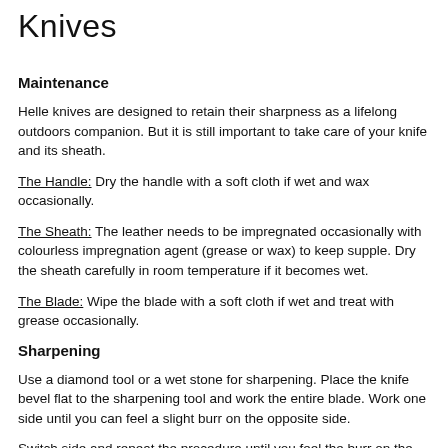Knives
Maintenance
Helle knives are designed to retain their sharpness as a lifelong outdoors companion. But it is still important to take care of your knife and its sheath.
The Handle: Dry the handle with a soft cloth if wet and wax occasionally.
The Sheath: The leather needs to be impregnated occasionally with colourless impregnation agent (grease or wax) to keep supple. Dry the sheath carefully in room temperature if it becomes wet.
The Blade: Wipe the blade with a soft cloth if wet and treat with grease occasionally.
Sharpening
Use a diamond tool or a wet stone for sharpening. Place the knife bevel flat to the sharpening tool and work the entire blade. Work one side until you can feel a slight burr on the opposite side.
Switch side and repeat the procedure until you feel the burr on the